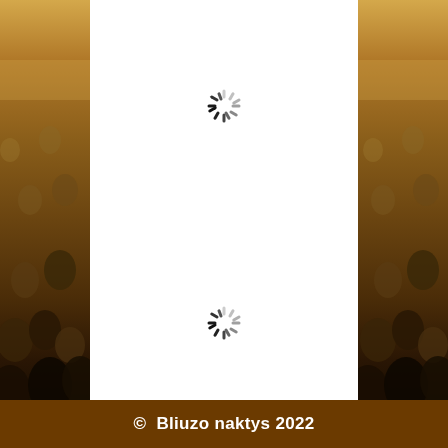[Figure (photo): Crowd of people at an outdoor festival/event, appearing on the left and right side panels of the page with warm golden tones]
[Figure (other): Loading spinner icon (circular dashed spinner), positioned upper center of white panel]
[Figure (other): Loading spinner icon (circular dashed spinner), positioned lower center of white panel]
© Bliuzo naktys 2022